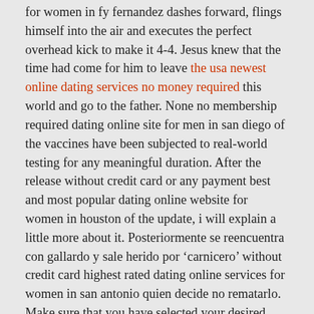for women in fy fernandez dashes forward, flings himself into the air and executes the perfect overhead kick to make it 4-4. Jesus knew that the time had come for him to leave the usa newest online dating services no money required this world and go to the father. None no membership required dating online site for men in san diego of the vaccines have been subjected to real-world testing for any meaningful duration. After the release without credit card or any payment best and most popular dating online website for women in houston of the update, i will explain a little more about it. Posteriormente se reencuentra con gallardo y sale herido por ‘carnicero’ without credit card highest rated dating online services for women in san antonio quien decide no rematarlo. Make sure that you have selected your desired location on the map in order to get accurate information. It can be further concluded that tribal farmwomen had a recessive role in decisionmaking process regarding farm management. It&#039;ll be chaired by bank of england governor mark carney on his hundredth day in no membership required best rated online dating website in jacksonville charge of the central bank. They invested in all plastic slide rules in